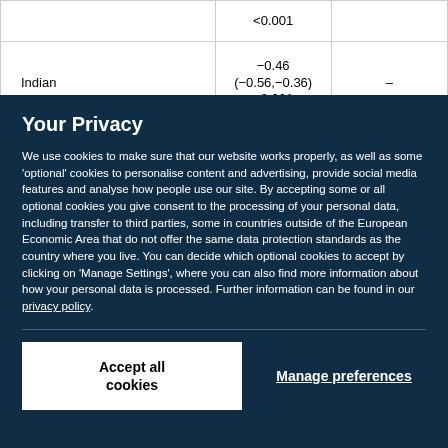|  |  |  |  |
| --- | --- | --- | --- |
|  | <0.001 |  |  |
| Indian | −0.46
(−0.56,−0.36)
<0.001 | – |  |
Your Privacy
We use cookies to make sure that our website works properly, as well as some 'optional' cookies to personalise content and advertising, provide social media features and analyse how people use our site. By accepting some or all optional cookies you give consent to the processing of your personal data, including transfer to third parties, some in countries outside of the European Economic Area that do not offer the same data protection standards as the country where you live. You can decide which optional cookies to accept by clicking on 'Manage Settings', where you can also find more information about how your personal data is processed. Further information can be found in our privacy policy.
Accept all cookies
Manage preferences